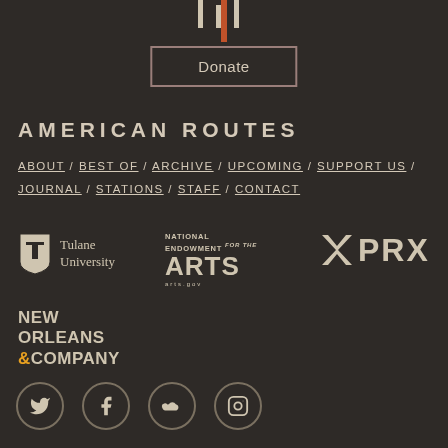[Figure (other): Partial logo/graphic at top center (cut off)]
Donate
AMERICAN ROUTES
ABOUT / BEST OF / ARCHIVE / UPCOMING / SUPPORT US / JOURNAL / STATIONS / STAFF / CONTACT
[Figure (logo): Tulane University shield logo with text]
[Figure (logo): National Endowment for the Arts logo]
[Figure (logo): PRX logo]
[Figure (logo): New Orleans & Company logo]
[Figure (other): Social media icons: Twitter, Facebook, Soundcloud, Instagram]